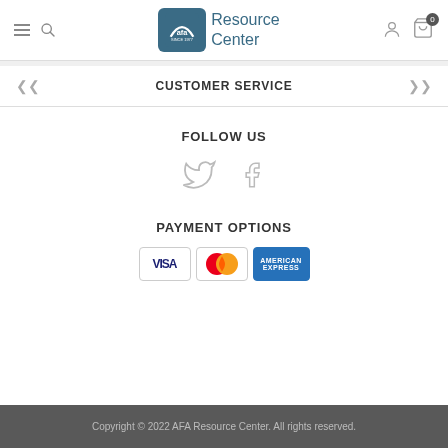[Figure (logo): AFA Resource Center logo with teal rounded rectangle containing 'afa' text and arc, followed by 'Resource Center' text]
CUSTOMER SERVICE
FOLLOW US
[Figure (illustration): Social media icons: Twitter bird and Facebook 'f' icons in light gray]
PAYMENT OPTIONS
[Figure (illustration): Payment card logos: Visa, MasterCard, American Express]
Copyright © 2022 AFA Resource Center. All rights reserved.